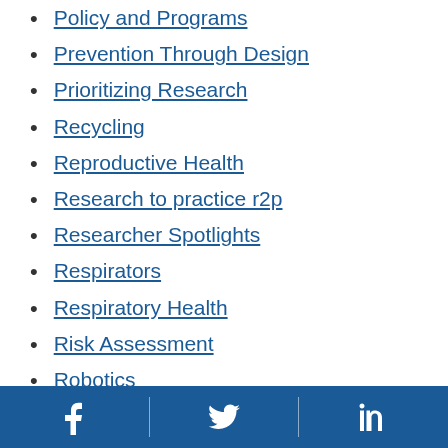Policy and Programs
Prevention Through Design
Prioritizing Research
Recycling
Reproductive Health
Research to practice r2p
Researcher Spotlights
Respirators
Respiratory Health
Risk Assessment
Robotics
Safety
Safety and Health Data
Facebook | Twitter | LinkedIn